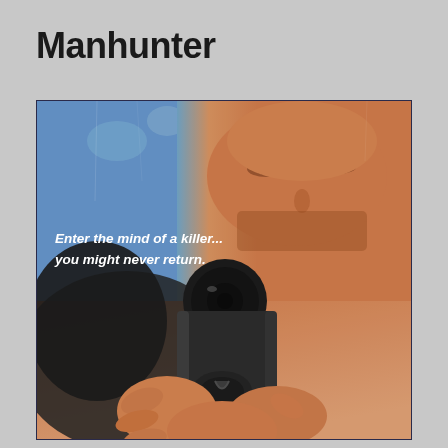Manhunter
[Figure (photo): Movie poster for Manhunter showing a man pointing a handgun directly at the viewer with intense eyes visible above, and text reading 'Enter the mind of a killer... you might never return.']